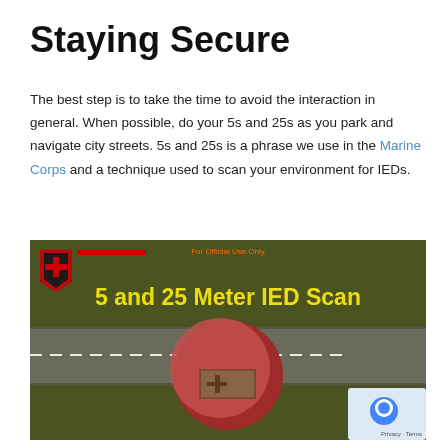Staying Secure
The best step is to take the time to avoid the interaction in general. When possible, do your 5s and 25s as you park and navigate city streets. 5s and 25s is a phrase we use in the Marine Corps and a technique used to scan your environment for IEDs.
[Figure (screenshot): Screenshot of a military training video titled '5 and 25 Meter IED Scan' showing an overhead view of a road with a large red circle (IED) visible on the road surface. The image has a dark olive/green background, a unit emblem in the top-left corner, 'For Official Use Only' text at the top center, yellow bold title text, and a Google Maps-style overlay in the bottom-right corner.]